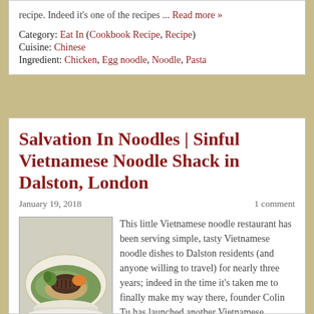recipe. Indeed it's one of the recipes ... Read more »
Category: Eat In (Cookbook Recipe, Recipe)
Cuisine: Chinese
Ingredient: Chicken, Egg noodle, Noodle, Pasta
Salvation In Noodles | Sinful Vietnamese Noodle Shack in Dalston, London
January 19, 2018
1 comment
[Figure (photo): A bowl of Vietnamese noodle dish with grilled meat, herbs and vegetables]
This little Vietnamese noodle restaurant has been serving simple, tasty Vietnamese noodle dishes to Dalston residents (and anyone willing to travel) for nearly three years; indeed in the time it's taken me to finally make my way there, founder Colin Tu has launched another Vietnamese restaurant, MAM, in Nottinghill and a second branch of Salvation ...
Read more »
Category: Eat Out (Restaurant)
Place: London
Cuisine: Vietnamese